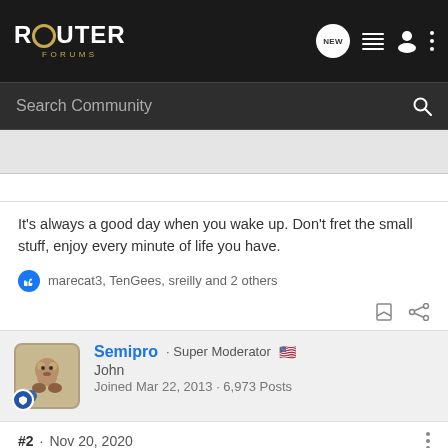ROUTER FORUMS
Search Community
It's always a good day when you wake up. Don't fret the small stuff, enjoy every minute of life you have.
marecat3, TenGees, sreilly and 2 others
Semipro · Super Moderator
John
Joined Mar 22, 2013 · 6,973 Posts
#2 · Nov 20, 2020